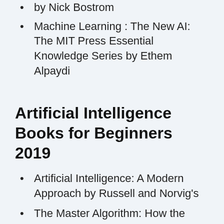by Nick Bostrom
Machine Learning : The New AI: The MIT Press Essential Knowledge Series by Ethem Alpaydi
Artificial Intelligence Books for Beginners 2019
Artificial Intelligence: A Modern Approach by Russell and Norvig's
The Master Algorithm: How the Quest for the Ultimate Learning Machine by Pedro Domingos
Superintelligence: Paths, Dangers, Strategies by Nick Bostrom
Artificial Intelligence for Humans by Jeff